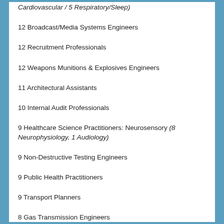12 Healthcare Science Practitioners: Physiology (7 Cardiovascular / 5 Respiratory/Sleep)
12 Broadcast/Media Systems Engineers
12 Recruitment Professionals
12 Weapons Munitions & Explosives Engineers
11 Architectural Assistants
10 Internal Audit Professionals
9 Healthcare Science Practitioners: Neurosensory (8 Neurophysiology, 1 Audiology)
9 Non-Destructive Testing Engineers
9 Public Health Practitioners
9 Transport Planners
8 Gas Transmission Engineers